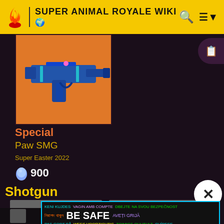SUPER ANIMAL ROYALE WIKI
[Figure (screenshot): Paw SMG weapon image on orange background]
Special
Paw SMG
Super Easter 2022
900
Shotgun
[Figure (screenshot): Gray placeholder content boxes]
KENI KUJDES VAGIN AMB COMPTE DBEJTE NA SVOU BEZPEČNOST নিরাপদ থাকুন BE SAFE AVEȚI GRIJĂ PAS GODT PÅ WEES VOORZICHTIG TOIMIGE OHUTULT CUÍDESE